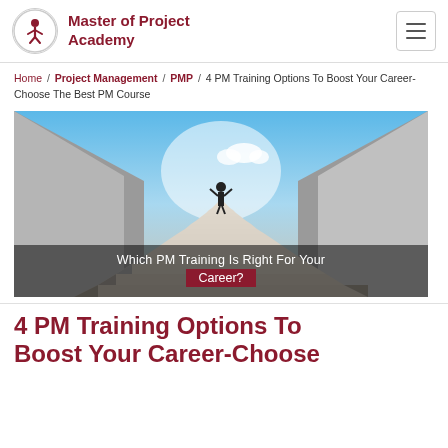Master of Project Academy
Home / Project Management / PMP / 4 PM Training Options To Boost Your Career-Choose The Best PM Course
[Figure (illustration): Person standing at the top of a long staircase with arms raised, between two walls, under a blue sky. Overlay text reads: Which PM Training Is Right For Your Career?]
4 PM Training Options To Boost Your Career-Choose